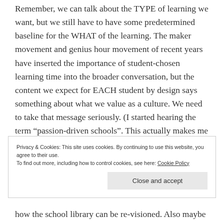Remember, we can talk about the TYPE of learning we want, but we still have to have some predetermined baseline for the WHAT of the learning. The maker movement and genius hour movement of recent years have inserted the importance of student-chosen learning time into the broader conversation, but the content we expect for EACH student by design says something about what we value as a culture. We need to take that message seriously. (I started hearing the term “passion-driven schools”. This actually makes me a little uncomfortable. More on that later.)
Privacy & Cookies: This site uses cookies. By continuing to use this website, you agree to their use.
To find out more, including how to control cookies, see here: Cookie Policy
how the school library can be re-visioned. Also maybe